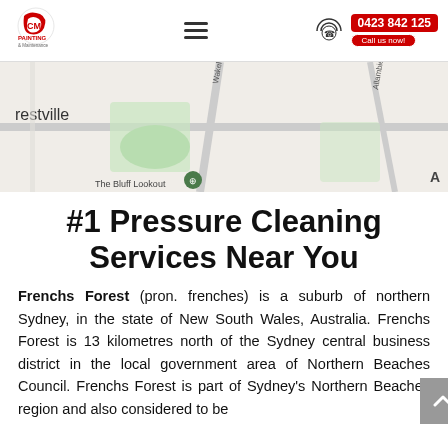[Figure (logo): GMi Painting & Maintenance logo - red bird/brush icon with CMi text]
[Figure (map): Street map showing Frenchs Forest area of northern Sydney with Wakehurst road and Allambie Rd visible, Bluff Lookout marked]
#1 Pressure Cleaning Services Near You
Frenchs Forest (pron. frenches) is a suburb of northern Sydney, in the state of New South Wales, Australia. Frenchs Forest is 13 kilometres north of the Sydney central business district in the local government area of Northern Beaches Council. Frenchs Forest is part of Sydney's Northern Beaches region and also considered to be